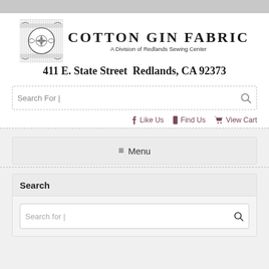[Figure (logo): Cotton Gin Fabric logo with decorative rose emblem and text: COTTON GIN FABRIC, A Division of Redlands Sewing Center, 411 E. State Street Redlands, CA 92373]
Search For |
Like Us   Find Us   View Cart
≡ Menu
Search
Search for |